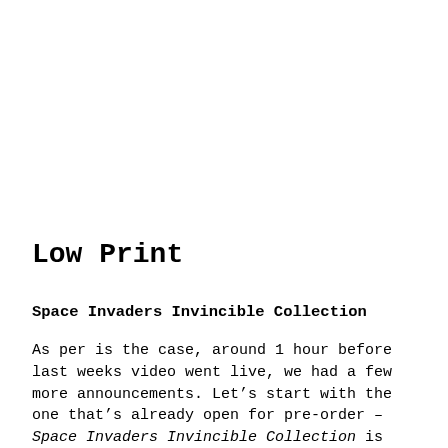Low Print
Space Invaders Invincible Collection
As per is the case, around 1 hour before last weeks video went live, we had a few more announcements. Let’s start with the one that’s already open for pre-order – Space Invaders Invincible Collection is getting a western release thanks to